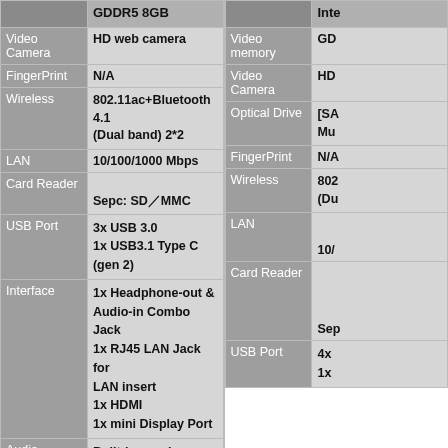| Attribute | Value |
| --- | --- |
| Video Camera | HD web camera |
| FingerPrint | N/A |
| Wireless | 802.11ac+Bluetooth 4.1 (Dual band) 2*2 |
| LAN | 10/100/1000 Mbps |
| Card Reader | Sepc: SD／MMC |
| USB Port | 3x USB 3.0
1x USB3.1 Type C (gen 2) |
| Interface | 1x Headphone-out & Audio-in Combo Jack
1x RJ45 LAN Jack for LAN insert
1x HDMI
1x mini Display Port |
| Audio | Built-in speaker
Built-in array microphone
Audio by ICEpower®
Sonic Master |
| Attribute | Value |
| --- | --- |
|  | inte... |
| Video memory | GD... |
| Video Camera | HD... |
| Optical Drive | [SA... Mu... |
| FingerPrint | N/A |
| Wireless | 802... (Du... |
| LAN | 10/... |
| Card Reader | Sep... |
| USB Port | 4x...
1x... |